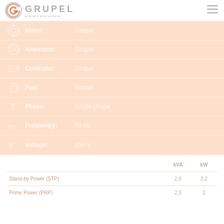[Figure (logo): Grupel logo with circular G icon and company name, with tagline 'energia everywhere']
Motor: Grupel
Alternator: Grupel
Controller: Grupel
Fuel: Benzin
Phase: Single-phase
Frequency: 50 Hz
Voltage: 230 V
|  | kVA | kW |
| --- | --- | --- |
| Stand-by Power (STP) | 2,8 | 2,2 |
| Prime Power (PRP) | 2,5 | 2 |